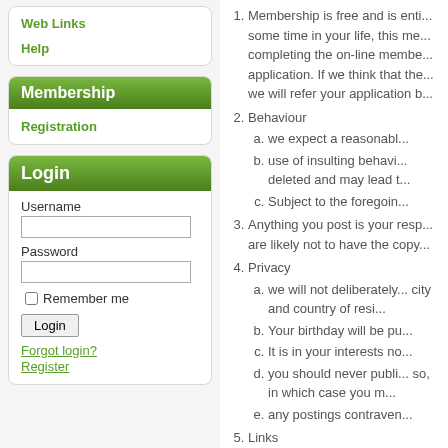Web Links
Help
Membership
Registration
Login
Username
Password
Remember me
Login
Forgot login?
Register
1. Membership is free and is enti... some time in your life, this me... completing the on-line membe... application. If we think that the... we will refer your application b...
2. Behaviour
a. we expect a reasonabl...
b. use of insulting behavi... deleted and may lead t...
c. Subject to the foregoin...
3. Anything you post is your resp... are likely not to have the copy...
4. Privacy
a. we will not deliberately... city and country of resi...
b. Your birthday will be pu...
c. It is in your interests no...
d. you should never publi... so, in which case you m...
e. any postings contraven...
5. Links
a. we will provide links to...
b. We have no responsib...
c. Should you feel such c...
6. Availability and content